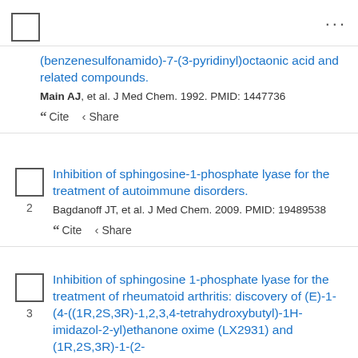[Figure (other): Checkbox and three-dot menu in top bar]
(benzenesulfonamido)-7-(3-pyridinyl)octaonic acid and related compounds.
Main AJ, et al. J Med Chem. 1992. PMID: 1447736
Cite Share
Inhibition of sphingosine-1-phosphate lyase for the treatment of autoimmune disorders.
Bagdanoff JT, et al. J Med Chem. 2009. PMID: 19489538
Cite Share
Inhibition of sphingosine 1-phosphate lyase for the treatment of rheumatoid arthritis: discovery of (E)-1-(4-((1R,2S,3R)-1,2,3,4-tetrahydroxybutyl)-1H-imidazol-2-yl)ethanone oxime (LX2931) and (1R,2S,3R)-1-(2-